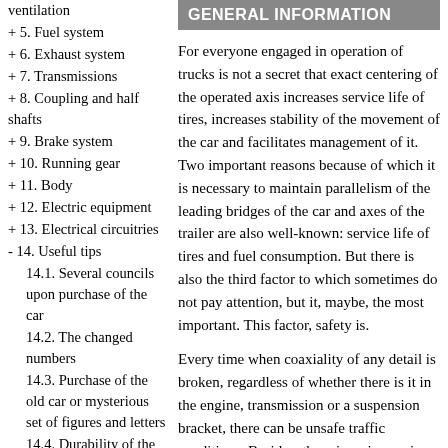ventilation
+ 5. Fuel system
+ 6. Exhaust system
+ 7. Transmissions
+ 8. Coupling and half shafts
+ 9. Brake system
+ 10. Running gear
+ 11. Body
+ 12. Electric equipment
+ 13. Electrical circuitries
- 14. Useful tips
14.1. Several councils upon purchase of the car
14.2. The changed numbers
14.3. Purchase of the old car or mysterious set of figures and letters
14.4. Durability of the car
14.5. About parallelism of bridges of the car and trailer
14.6. Preparation of the car for winter
14.7. It is rather live, than is dead …
GENERAL INFORMATION
For everyone engaged in operation of trucks is not a secret that exact centering of the operated axis increases service life of tires, increases stability of the movement of the car and facilitates management of it. Two important reasons because of which it is necessary to maintain parallelism of the leading bridges of the car and axes of the trailer are also well-known: service life of tires and fuel consumption. But there is also the third factor to which sometimes do not pay attention, but it, maybe, the most important. This factor, safety is.
Every time when coaxiality of any detail is broken, regardless of whether there is it in the engine, transmission or a suspension bracket, there can be unsafe traffic conditions. Besides, there is an increasing possibility of "folding" of the road train at the movement on